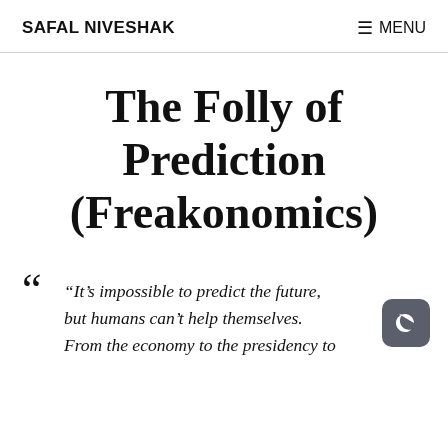SAFAL NIVESHAK | MENU
The Folly of Prediction (Freakonomics)
“It’s impossible to predict the future, but humans can’t help themselves. From the economy to the presidency to